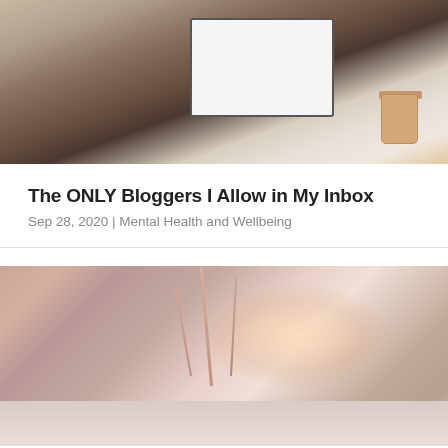[Figure (photo): Woman seen from behind with long wavy hair sitting at a desk working on a laptop, with a takeaway coffee cup on the right side]
The ONLY Bloggers I Allow in My Inbox
Sep 28, 2020 | Mental Health and Wellbeing
[Figure (photo): Close-up of frosted winter grass stalks in a snowy field with bare trees and a warm sunset glow in the background]